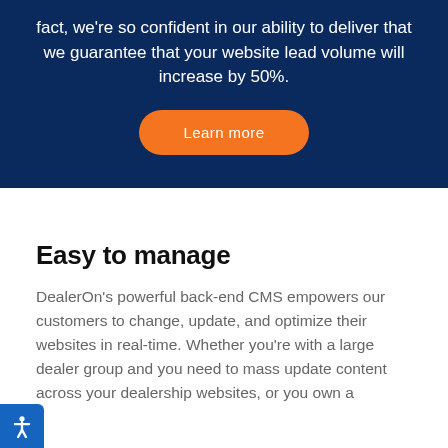fact, we're so confident in our ability to deliver that we guarantee that your website lead volume will increase by 50%.
[Figure (other): Orange rounded pill-shaped button with white text reading 'Learn more']
Easy to manage
DealerOn's powerful back-end CMS empowers our customers to change, update, and optimize their websites in real-time. Whether you're with a large dealer group and you need to mass update content across your dealership websites, or you own a